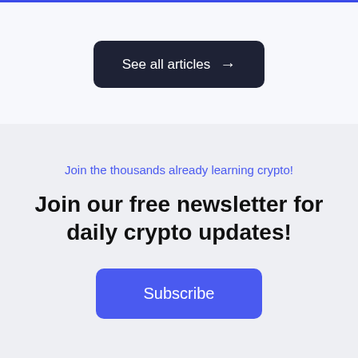See all articles →
Join the thousands already learning crypto!
Join our free newsletter for daily crypto updates!
Subscribe